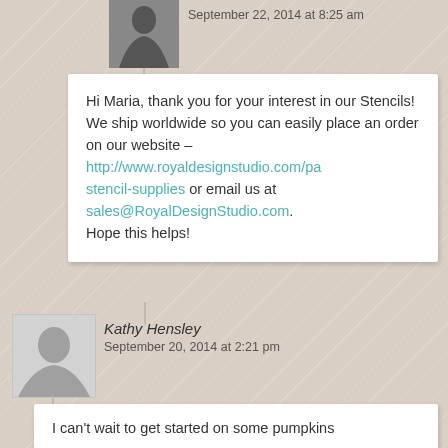[Figure (photo): Small avatar photo of a woman with dark hair, top-right area]
September 22, 2014 at 8:25 am
Hi Maria, thank you for your interest in our Stencils! We ship worldwide so you can easily place an order on our website – http://www.royaldesignstudio.com/pa stencil-supplies or email us at sales@RoyalDesignStudio.com. Hope this helps!
[Figure (photo): Gray placeholder avatar silhouette for Kathy Hensley]
Kathy Hensley
September 20, 2014 at 2:21 pm
I can't wait to get started on some pumpkins
[Figure (photo): Small avatar photo of Amisha Desai, a woman with dark hair]
Amisha Desai
September 22, 2014 at 8:21 am
I am glad you liked the idea Kathy!